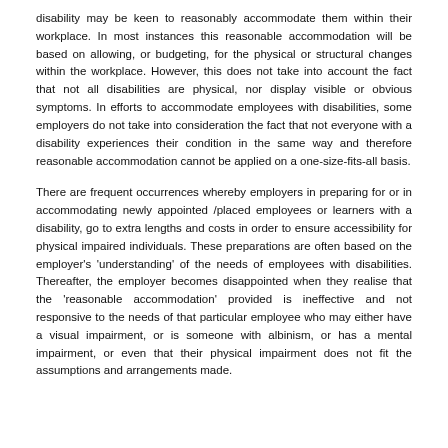disability may be keen to reasonably accommodate them within their workplace. In most instances this reasonable accommodation will be based on allowing, or budgeting, for the physical or structural changes within the workplace. However, this does not take into account the fact that not all disabilities are physical, nor display visible or obvious symptoms. In efforts to accommodate employees with disabilities, some employers do not take into consideration the fact that not everyone with a disability experiences their condition in the same way and therefore reasonable accommodation cannot be applied on a one-size-fits-all basis.
There are frequent occurrences whereby employers in preparing for or in accommodating newly appointed /placed employees or learners with a disability, go to extra lengths and costs in order to ensure accessibility for physical impaired individuals. These preparations are often based on the employer's 'understanding' of the needs of employees with disabilities. Thereafter, the employer becomes disappointed when they realise that the 'reasonable accommodation' provided is ineffective and not responsive to the needs of that particular employee who may either have a visual impairment, or is someone with albinism, or has a mental impairment, or even that their physical impairment does not fit the assumptions and arrangements made.